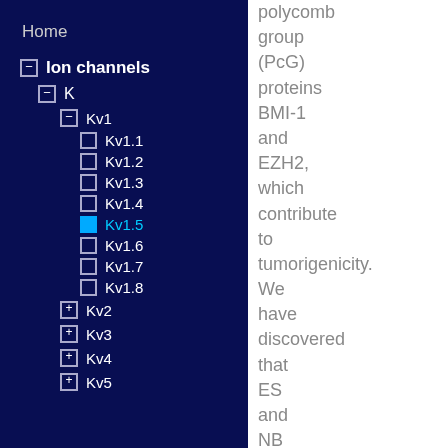Home
− Ion channels
− K
− Kv1
□ Kv1.1
□ Kv1.2
□ Kv1.3
□ Kv1.4
■ Kv1.5
□ Kv1.6
□ Kv1.7
□ Kv1.8
+ Kv2
+ Kv3
+ Kv4
+ Kv5
polycomb group (PcG) proteins BMI-1 and EZH2, which contribute to tumorigenicity. We have discovered that ES and NB